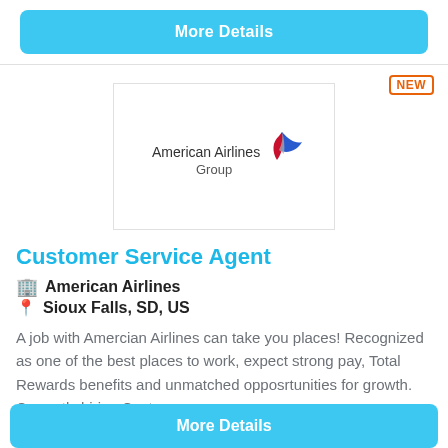More Details
[Figure (logo): American Airlines Group logo]
Customer Service Agent
American Airlines
Sioux Falls, SD, US
A job with Amercian Airlines can take you places! Recognized as one of the best places to work, expect strong pay, Total Rewards benefits and unmatched opposrtunities for growth. Currently hiring Cust...
More Details